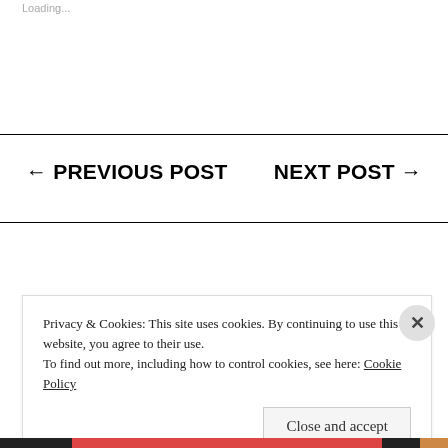Loading...
← PREVIOUS POST
NEXT POST →
Privacy & Cookies: This site uses cookies. By continuing to use this website, you agree to their use.
To find out more, including how to control cookies, see here: Cookie Policy
Close and accept